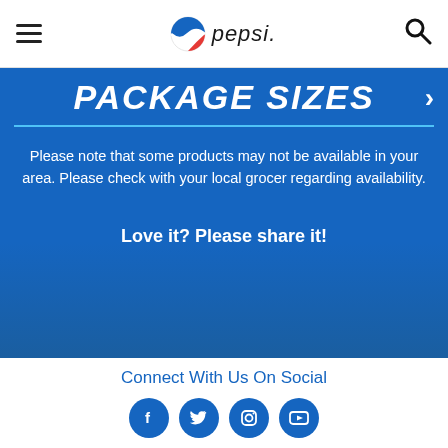pepsi
PACKAGE SIZES
Please note that some products may not be available in your area. Please check with your local grocer regarding availability.
Love it? Please share it!
Connect With Us On Social
[Figure (other): Social media icons: Facebook, Twitter, Instagram, YouTube]